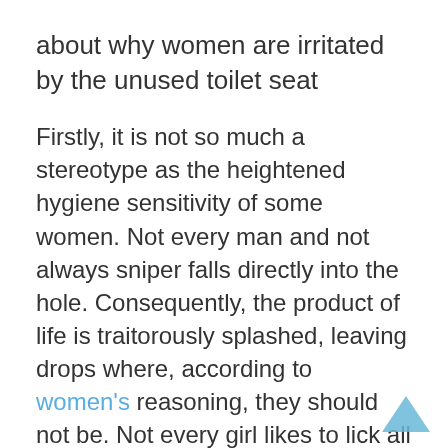about why women are irritated by the unused toilet seat
Firstly, it is not so much a stereotype as the heightened hygiene sensitivity of some women. Not every man and not always sniper falls directly into the hole. Consequently, the product of life is traitorously splashed, leaving drops where, according to women's reasoning, they should not be. Not every girl likes to lick all this farm, so it would be better if the splashes on the rim were hidden by a chair.